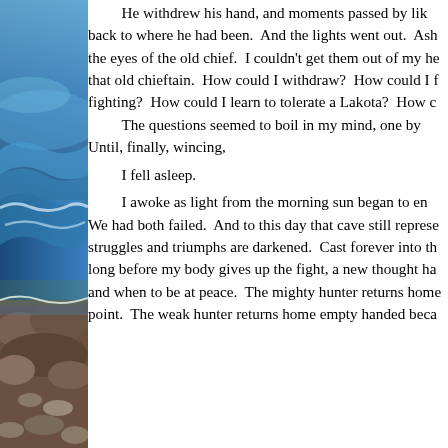[Figure (photo): Left column showing a coastal/ocean scene with blue water, waves, rocks, and a shoreline, rendered as a vertical strip.]
He withdrew his hand, and moments passed by like back to where he had been.  And the lights went out.  Ash the eyes of the old chief.  I couldn't get them out of my he that old chieftain.  How could I withdraw?  How could I f fighting?  How could I learn to tolerate a Lakota?  How c The questions seemed to boil in my mind, one by Until, finally, wincing, I fell asleep. I awoke as light from the morning sun began to en We had both failed.  And to this day that cave still represe struggles and triumphs are darkened.  Cast forever into th long before my body gives up the fight, a new thought ha and when to be at peace.  The mighty hunter returns home point.  The weak hunter returns home empty handed beca